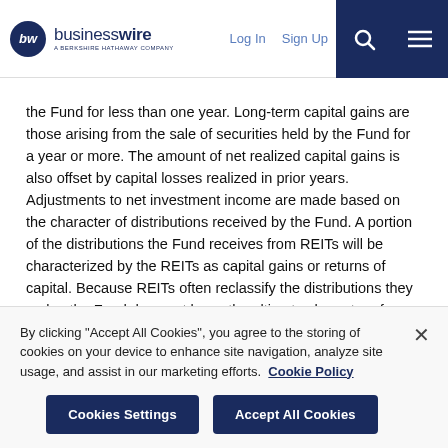businesswire — A BERKSHIRE HATHAWAY COMPANY | Log In | Sign Up
the Fund for less than one year. Long-term capital gains are those arising from the sale of securities held by the Fund for a year or more. The amount of net realized capital gains is also offset by capital losses realized in prior years. Adjustments to net investment income are made based on the character of distributions received by the Fund. A portion of the distributions the Fund receives from REITs will be characterized by the REITs as capital gains or returns of capital. Because REITs often reclassify the distributions they make, the Fund does not know the ultimate character of these distributions at the time they are received, so the Fund estimates the character based on historical information. The Fund's net
By clicking "Accept All Cookies", you agree to the storing of cookies on your device to enhance site navigation, analyze site usage, and assist in our marketing efforts. Cookie Policy
Cookies Settings | Accept All Cookies